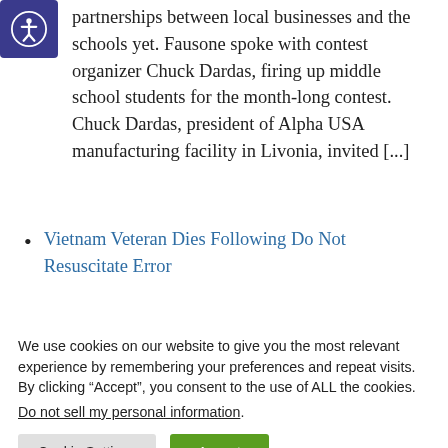partnerships between local businesses and the schools yet. Fausone spoke with contest organizer Chuck Dardas, firing up middle school students for the month-long contest. Chuck Dardas, president of Alpha USA manufacturing facility in Livonia, invited [...]
Vietnam Veteran Dies Following Do Not Resuscitate Error
We use cookies on our website to give you the most relevant experience by remembering your preferences and repeat visits. By clicking “Accept”, you consent to the use of ALL the cookies.
Do not sell my personal information.